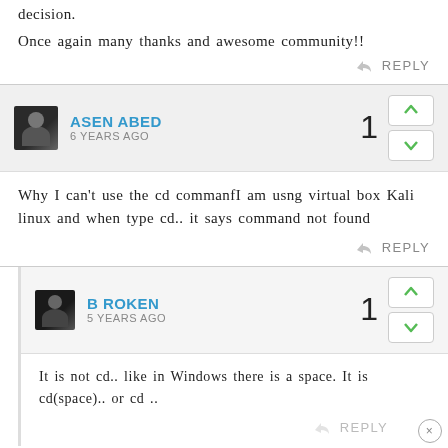decision.
Once again many thanks and awesome community!!
REPLY
ASEN ABED
6 YEARS AGO
Why I can't use the cd commanfI am usng virtual box Kali linux and when type cd.. it says command not found
REPLY
B ROKEN
5 YEARS AGO
It is not cd.. like in Windows there is a space. It is cd(space).. or cd ..
REPLY